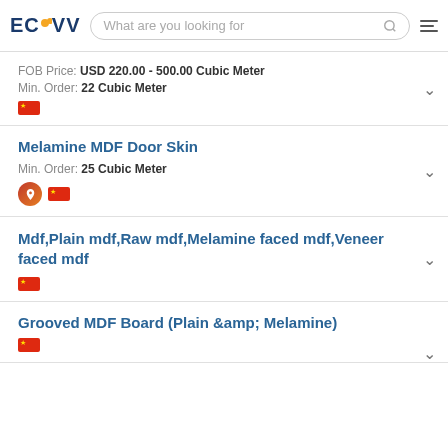ECVV - What are you looking for
FOB Price: USD 220.00 - 500.00 Cubic Meter
Min. Order: 22 Cubic Meter
Melamine MDF Door Skin
Min. Order: 25 Cubic Meter
Mdf,Plain mdf,Raw mdf,Melamine faced mdf,Veneer faced mdf
Grooved MDF Board (Plain &amp; Melamine)